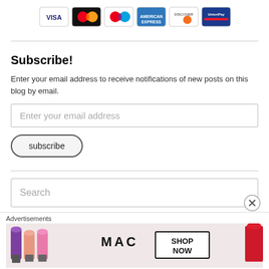[Figure (illustration): Row of credit card logos: Visa, Mastercard (black), Mastercard (blue/red), American Express, Discover, and one more card brand]
Subscribe!
Enter your email address to receive notifications of new posts on this blog by email.
Enter your email address
subscribe
Search
Advertisements
[Figure (illustration): MAC cosmetics advertisement showing lipsticks in purple, pink, and red with MAC logo and SHOP NOW button]